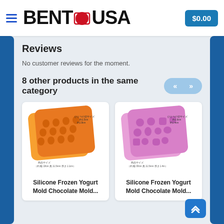[Figure (logo): Bento USA logo with hamburger menu icon on left, bold BENTO USA text with red circle dot and red rectangle outline, and $0.00 cart button on right]
Reviews
No customer reviews for the moment.
8 other products in the same category
[Figure (photo): Orange silicone frozen yogurt mold / chocolate mold with bunny/miffy shaped cavities, shown from above at an angle with Japanese text indicating dimensions]
Silicone Frozen Yogurt Mold Chocolate Mold...
[Figure (photo): Pink/purple silicone frozen yogurt mold / chocolate mold with various shaped cavities (circles, squares, bears), shown from above at an angle with Japanese text indicating dimensions]
Silicone Frozen Yogurt Mold Chocolate Mold...